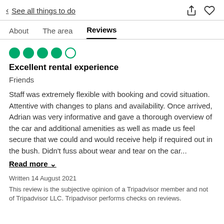< See all things to do
About   The area   Reviews
[Figure (other): 4 out of 5 green circles rating (TripAdvisor style dots)]
Excellent rental experience
Friends
Staff was extremely flexible with booking and covid situation. Attentive with changes to plans and availability. Once arrived, Adrian was very informative and gave a thorough overview of the car and additional amenities as well as made us feel secure that we could and would receive help if required out in the bush. Didn't fuss about wear and tear on the car...
Read more ∨
Written 14 August 2021
This review is the subjective opinion of a Tripadvisor member and not of Tripadvisor LLC. Tripadvisor performs checks on reviews.